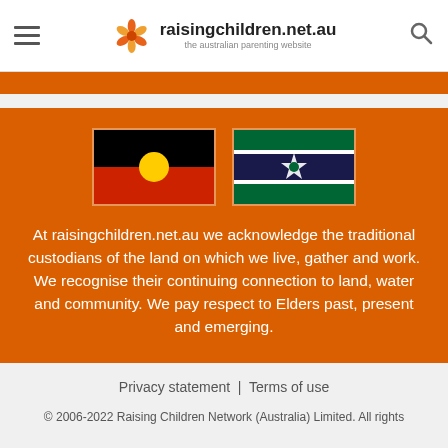raisingchildren.net.au — the australian parenting website
[Figure (illustration): Australian Aboriginal flag and Torres Strait Islander flag side by side]
At raisingchildren.net.au we acknowledge the traditional custodians of the land on which we live, gather and work. We recognise their continuing connection to land, water and community. We pay respect to Elders past, present and emerging.
Privacy statement  |  Terms of use
© 2006-2022 Raising Children Network (Australia) Limited. All rights